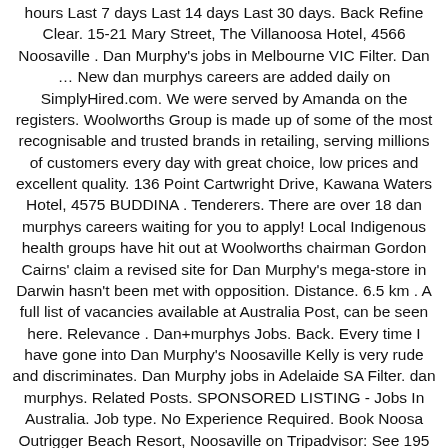hours Last 7 days Last 14 days Last 30 days. Back Refine Clear. 15-21 Mary Street, The Villanoosa Hotel, 4566 Noosaville . Dan Murphy's jobs in Melbourne VIC Filter. Dan … New dan murphys careers are added daily on SimplyHired.com. We were served by Amanda on the registers. Woolworths Group is made up of some of the most recognisable and trusted brands in retailing, serving millions of customers every day with great choice, low prices and excellent quality. 136 Point Cartwright Drive, Kawana Waters Hotel, 4575 BUDDINA . Tenderers. There are over 18 dan murphys careers waiting for you to apply! Local Indigenous health groups have hit out at Woolworths chairman Gordon Cairns' claim a revised site for Dan Murphy's mega-store in Darwin hasn't been met with opposition. Distance. 6.5 km . A full list of vacancies available at Australia Post, can be seen here. Relevance . Dan+murphys Jobs. Back. Every time I have gone into Dan Murphy's Noosaville Kelly is very rude and discriminates. Dan Murphy jobs in Adelaide SA Filter. dan murphys. Related Posts. SPONSORED LISTING - Jobs In Australia. Job type. No Experience Required. Book Noosa Outrigger Beach Resort, Noosaville on Tripadvisor: See 195 traveler reviews, 77 candid photos, and great deals for Noosa Outrigger Beach Resort, ranked #20 of 43 specialty lodging in Noosaville and rated 4.5 of 5 at Tripadvisor. The assessment says the new Dan Murphy's store would result in "additional